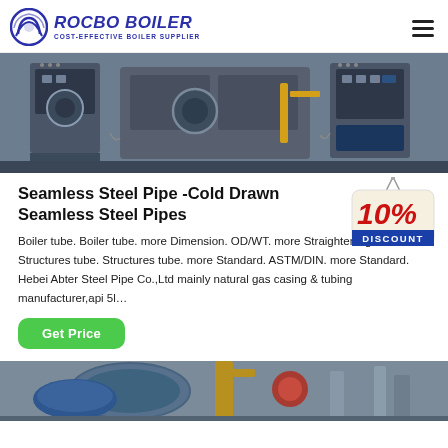ROCBO BOILER - COST-EFFECTIVE BOILER SUPPLIER
[Figure (photo): Industrial boiler equipment room showing boiler units and control panels]
Seamless Steel Pipe -Cold Drawn Seamless Steel Pipes
[Figure (illustration): 10% DISCOUNT badge/tag graphic]
Boiler tube. Boiler tube. more Dimension. OD/WT. more Straightening. more Structures tube. Structures tube. more Standard. ASTM/DIN. more Standard. Hebei Abter Steel Pipe Co.,Ltd mainly natural gas casing & tubing manufacturer,api 5l…
Get Price
[Figure (photo): Industrial pipes and equipment, partial view at bottom of page]